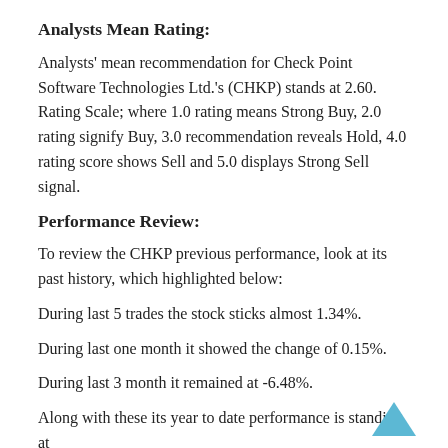Analysts Mean Rating:
Analysts' mean recommendation for Check Point Software Technologies Ltd.'s (CHKP) stands at 2.60. Rating Scale; where 1.0 rating means Strong Buy, 2.0 rating signify Buy, 3.0 recommendation reveals Hold, 4.0 rating score shows Sell and 5.0 displays Strong Sell signal.
Performance Review:
To review the CHKP previous performance, look at its past history, which highlighted below:
During last 5 trades the stock sticks almost 1.34%.
During last one month it showed the change of 0.15%.
During last 3 month it remained at -6.48%.
Along with these its year to date performance is standing at -4.45%